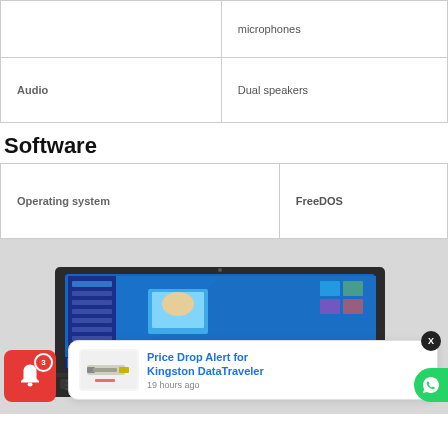|  | microphones |
| Audio | Dual speakers |
Software
| Operating system | FreeDOS |
[Figure (photo): HP laptop with Windows 10 desktop visible on screen, with a 'Price Drop Alert for Kingston DataTraveler' notification popup and a red notification bell badge showing 3 notifications in the bottom left.]